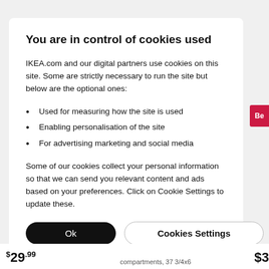You are in control of cookies used
IKEA.com and our digital partners use cookies on this site. Some are strictly necessary to run the site but below are the optional ones:
Used for measuring how the site is used
Enabling personalisation of the site
For advertising marketing and social media
Some of our cookies collect your personal information so that we can send you relevant content and ads based on your preferences. Click on Cookie Settings to update these.
Ok
Cookies Settings
$29.99
compartments, 37 3/4x6
$3